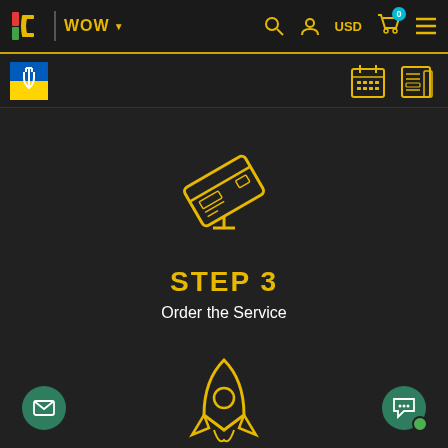[Figure (screenshot): Website navigation bar with logo (IC), WOW dropdown, search icon, user icon, USD currency, cart with 0 badge, and hamburger menu icon in yellow on dark background]
[Figure (screenshot): Secondary navigation bar with Ukrainian flag/trident icon on the left, and calendar and news icons on the right in yellow]
[Figure (infographic): Yellow credit card icon tilted at an angle on a dark background, representing Step 3]
STEP 3
Order the Service
[Figure (infographic): Yellow rocket ship icon partially visible at the bottom of the page]
[Figure (infographic): Green envelope button (floating, bottom left) and green chat bubble button (floating, bottom right) with a green online indicator dot]